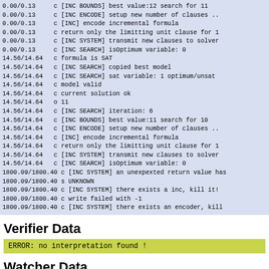0.00/0.13     c [INC BOUNDS] best value:12 search for 11
0.00/0.13     c [INC ENCODE] setup new number of clauses ..
0.00/0.13     c [INC] encode incremental formula
0.00/0.13     c return only the limitting unit clause for 1
0.00/0.13     c [INC SYSTEM] transmit new clauses to solver
0.00/0.13     c [INC SEARCH] isOptimum variable: 0
14.56/14.64   c formula is SAT
14.56/14.64   c [INC SEARCH] copied best model
14.56/14.64   c [INC SEARCH] sat variable: 1 optimum/unsat
14.56/14.64   c model valid
14.56/14.64   c current solution ok
14.56/14.64   o 11
14.56/14.64   c [INC SEARCH] iteration: 6
14.56/14.64   c [INC BOUNDS] best value:11 search for 10
14.56/14.64   c [INC ENCODE] setup new number of clauses ..
14.56/14.64   c [INC] encode incremental formula
14.56/14.64   c return only the limitting unit clause for 1
14.56/14.64   c [INC SYSTEM] transmit new clauses to solver
14.56/14.64   c [INC SEARCH] isOptimum variable: 0
1800.09/1800.40 c [INC SYSTEM] an unexpexted return value has
1800.09/1800.40 s UNKNOWN
1800.09/1800.40 c [INC SYSTEM] there exists a inc, kill it!
1800.09/1800.40 c write failed with -1
1800.09/1800.40 c [INC SYSTEM] there exists an encoder, kill
Verifier Data
ERROR: no interpretation found !
Watcher Data